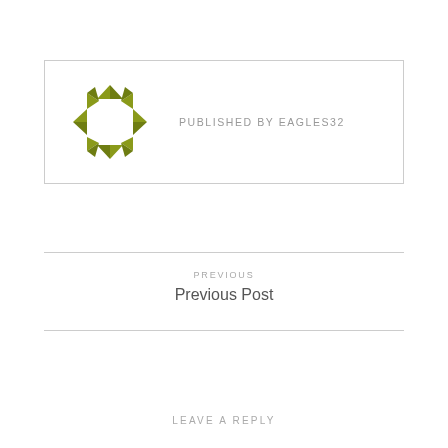[Figure (logo): Circular geometric logo made of olive-green triangles arranged in a ring pattern]
PUBLISHED BY EAGLES32
PREVIOUS
Previous Post
LEAVE A REPLY